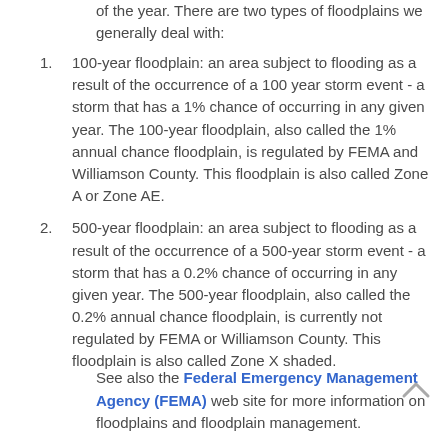of the year. There are two types of floodplains we generally deal with:
100-year floodplain: an area subject to flooding as a result of the occurrence of a 100 year storm event - a storm that has a 1% chance of occurring in any given year. The 100-year floodplain, also called the 1% annual chance floodplain, is regulated by FEMA and Williamson County. This floodplain is also called Zone A or Zone AE.
500-year floodplain: an area subject to flooding as a result of the occurrence of a 500-year storm event - a storm that has a 0.2% chance of occurring in any given year. The 500-year floodplain, also called the 0.2% annual chance floodplain, is currently not regulated by FEMA or Williamson County. This floodplain is also called Zone X shaded.
See also the Federal Emergency Management Agency (FEMA) web site for more information on floodplains and floodplain management.